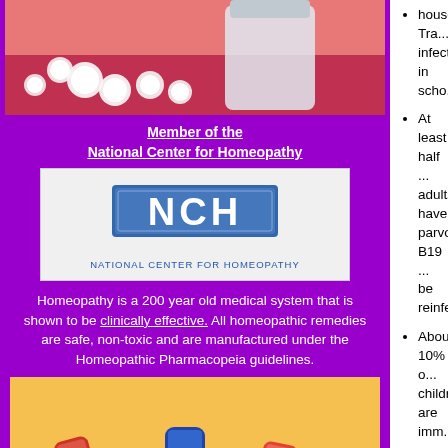[Figure (photo): Homeopathic white pills/pellets spilling from a bottle on a red background]
Member of the
National Center for Homeopathy
[Figure (logo): NCH - National Center for Homeopathy logo in a white box]
Homeopathy is a 200 year old medical system that is shown to be clinically effective. All homeopathic remedies are safe, non-toxic and are manufactured under the Homeopathic Pharmacopeia guidelines.
[Figure (photo): Homeopathic remedy vials/tubes on orange/yellow background]
Read Disclaimer
household. Transmission and infection in scho...
At least half ... adults have parvovirus B19 ... be reinfected.
About 10% o... children are imm...
People with ... contagious be... symptoms and contagious afte... rash.
The incubation... from acquiring ... development ... usually lasts b... days.
Homeopathic Reme... Disease - Slapped Che...
Apis
Chill stage of fev... warm coverings...